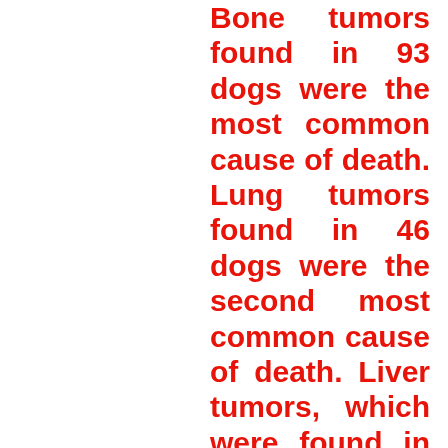Bone tumors found in 93 dogs were the most common cause of death. Lung tumors found in 46 dogs were the second most common cause of death. Liver tumors, which were found in 20